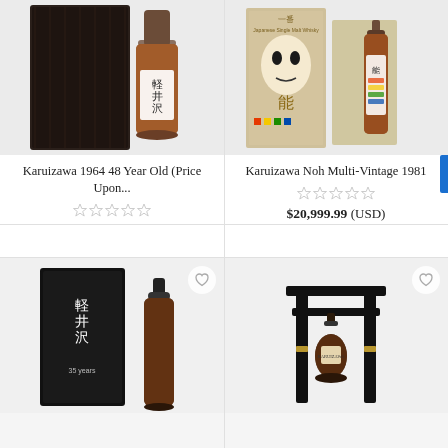[Figure (photo): Karuizawa 1964 whisky bottle with dark wood box]
Karuizawa 1964 48 Year Old (Price Upon...
[Figure (photo): Karuizawa Noh Multi-Vintage 1981 whisky bottle with Noh mask box]
Karuizawa Noh Multi-Vintage 1981
$20,999.99 (USD)
[Figure (photo): Karuizawa 35 Year whisky bottle with black box]
[Figure (photo): Black torii-style whisky display stand with bottle]